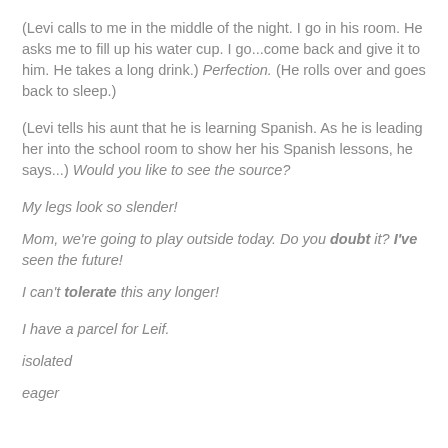(Levi calls to me in the middle of the night. I go in his room. He asks me to fill up his water cup. I go...come back and give it to him. He takes a long drink.) Perfection. (He rolls over and goes back to sleep.)
(Levi tells his aunt that he is learning Spanish. As he is leading her into the school room to show her his Spanish lessons, he says...) Would you like to see the source?
My legs look so slender!
Mom, we're going to play outside today. Do you doubt it? I've seen the future!
I can't tolerate this any longer!
I have a parcel for Leif.
isolated
eager